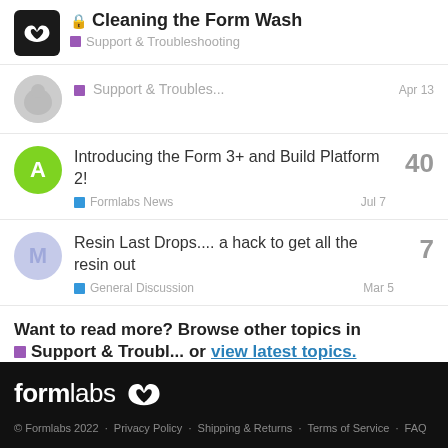Cleaning the Form Wash — Support & Troubleshooting
Support & Troubles...  Apr 13
Introducing the Form 3+ and Build Platform 2! — Formlabs News — Jul 7 — 40 replies
Resin Last Drops.... a hack to get all the resin out — General Discussion — Mar 5 — 7 replies
Want to read more? Browse other topics in ■ Support & Troubl...  or view latest topics.
formlabs © Formlabs 2022 · Privacy Policy · Shipping & Returns · Terms of Service · FAQ